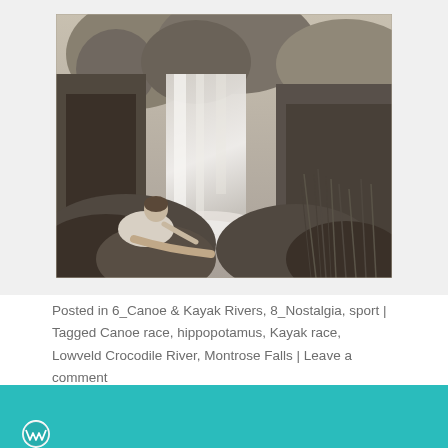[Figure (photo): Black and white vintage photograph of a woman sitting on rocks in front of a large waterfall, surrounded by trees and tall grass. Appears to be an outdoor nature scene, likely from mid-20th century.]
Posted in 6_Canoe & Kayak Rivers, 8_Nostalgia, sport | Tagged Canoe race, hippopotamus, Kayak race, Lowveld Crocodile River, Montrose Falls | Leave a comment